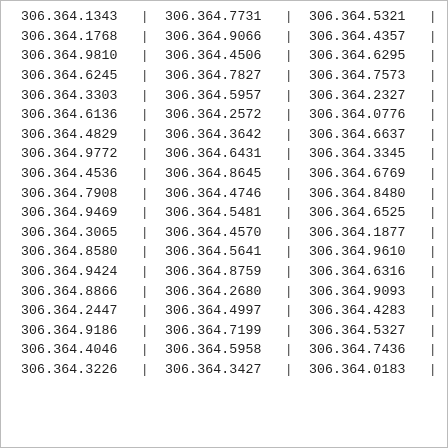| Col1 | Col2 | Col3 |
| --- | --- | --- |
| 306.364.1343 | 306.364.7731 | 306.364.5321 |
| 306.364.1768 | 306.364.9066 | 306.364.4357 |
| 306.364.9810 | 306.364.4506 | 306.364.6295 |
| 306.364.6245 | 306.364.7827 | 306.364.7573 |
| 306.364.3303 | 306.364.5957 | 306.364.2327 |
| 306.364.6136 | 306.364.2572 | 306.364.0776 |
| 306.364.4829 | 306.364.3642 | 306.364.6637 |
| 306.364.9772 | 306.364.6431 | 306.364.3345 |
| 306.364.4536 | 306.364.8645 | 306.364.6769 |
| 306.364.7908 | 306.364.4746 | 306.364.8480 |
| 306.364.9469 | 306.364.5481 | 306.364.6525 |
| 306.364.3065 | 306.364.4570 | 306.364.1877 |
| 306.364.8580 | 306.364.5641 | 306.364.9610 |
| 306.364.9424 | 306.364.8759 | 306.364.6316 |
| 306.364.8866 | 306.364.2680 | 306.364.9093 |
| 306.364.2447 | 306.364.4997 | 306.364.4283 |
| 306.364.9186 | 306.364.7199 | 306.364.5327 |
| 306.364.4046 | 306.364.5958 | 306.364.7436 |
| 306.364.3226 | 306.364.3427 | 306.364.0183 |